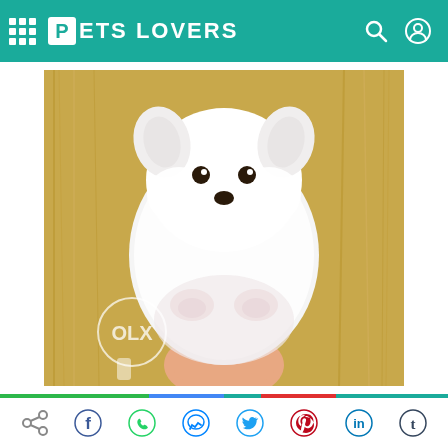PETS LOVERS
[Figure (photo): A fluffy white Pomeranian puppy being held by a human hand, shown against a golden wheat/straw background. An OLX watermark circle is visible in the lower left of the image.]
[Figure (infographic): Social sharing bar with share, Facebook, WhatsApp, Messenger, Twitter, Pinterest, LinkedIn, and Tumblr icons, preceded by a multicolor divider line (green, blue, red, teal segments).]